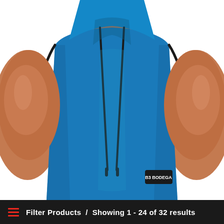[Figure (photo): A muscular man wearing a bright blue sleeveless hoodie with black drawstrings and a small brand patch logo at the lower right of the garment. The man's arms, shoulders and torso are prominently visible against a white background.]
Filter Products  /  Showing 1 - 24 of 32 results